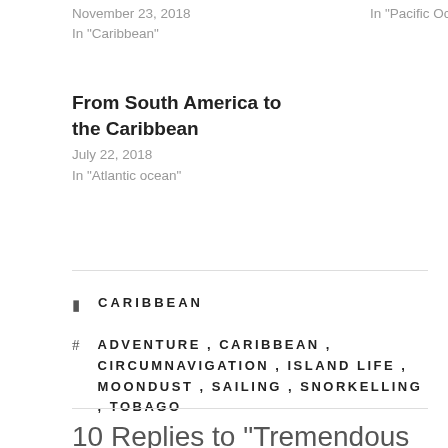November 23, 2018
In "Caribbean"
In "Pacific Ocean"
From South America to the Caribbean
July 22, 2018
In "Atlantic ocean"
CARIBBEAN
ADVENTURE , CARIBBEAN , CIRCUMNAVIGATION , ISLAND LIFE , MOONDUST , SAILING , SNORKELLING , TOBAGO
10 Replies to “Tremendous Tobago – Part One”